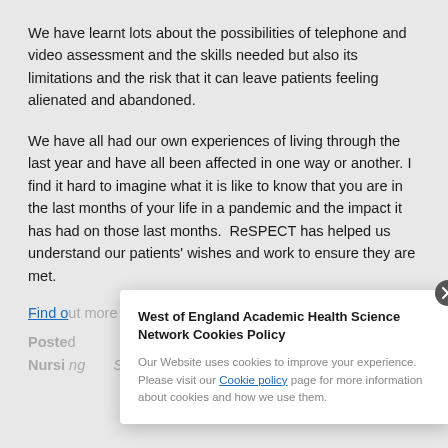We have learnt lots about the possibilities of telephone and video assessment and the skills needed but also its limitations and the risk that it can leave patients feeling alienated and abandoned.
We have all had our own experiences of living through the last year and have all been affected in one way or another. I find it hard to imagine what it is like to know that you are in the last months of your life in a pandemic and the impact it has had on those last months.  ReSPECT has helped us understand our patients' wishes and work to ensure they are met.
Find o[ut more about the programme]
Poste[d...Community/] Nursi[ng...St Peter's Hospice]
[Figure (screenshot): Cookie consent popup for West of England Academic Health Science Network. Title: 'West of England Academic Health Science Network Cookies Policy'. Body text: 'Our Website uses cookies to improve your experience. Please visit our Cookie policy page for more information about cookies and how we use them.' Has a close (X) button in top right corner.]